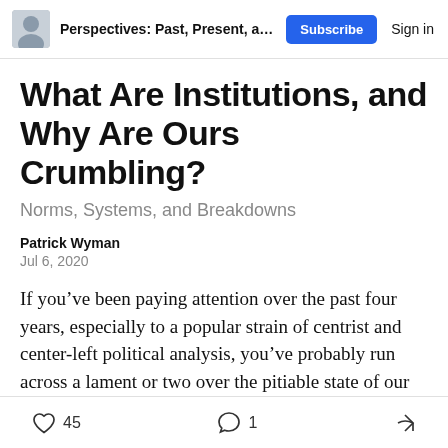Perspectives: Past, Present, and F...  Subscribe  Sign in
What Are Institutions, and Why Are Ours Crumbling?
Norms, Systems, and Breakdowns
Patrick Wyman
Jul 6, 2020
If you’ve been paying attention over the past four years, especially to a popular strain of centrist and center-left political analysis, you’ve probably run across a lament or two over the pitiable state of our “institutions.” Maybe the concern du jour is instead the breakdown of
45  1